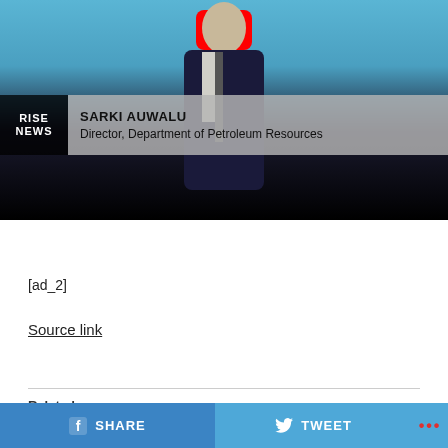[Figure (screenshot): Video thumbnail showing a man in a dark suit on a news broadcast. A YouTube play button overlay is visible at top center. A lower-third graphic shows 'RISE NEWS' on the left and 'SARKI AUWALU / Director, Department of Petroleum Resources' on the right.]
[ad_2]
Source link
Related
SHARE
TWEET